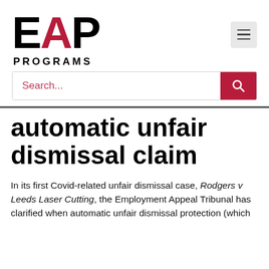[Figure (logo): EAP Programs logo with large black E, red A, black P letters and PROGRAMS text below]
automatic unfair dismissal claim
In its first Covid-related unfair dismissal case, Rodgers v Leeds Laser Cutting, the Employment Appeal Tribunal has clarified when automatic unfair dismissal protection (which